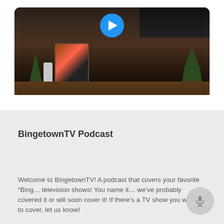[Figure (screenshot): Video thumbnail showing a room interior with a dresser, artwork, plant, speaker device, and a blue play button at the top center. Part of a TV is visible in the upper right.]
BingetownTV Podcast
Welcome to BingetownTV! A podcast that covers your favorite “Bing… television shows! You name it… we’ve probably covered it or will soon cover it! If there’s a TV show you want us to cover, let us know!